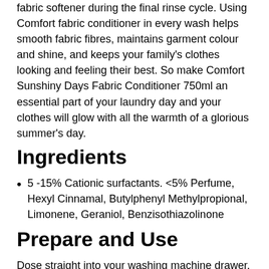fabric softener during the final rinse cycle. Using Comfort fabric conditioner in every wash helps smooth fabric fibres, maintains garment colour and shine, and keeps your family's clothes looking and feeling their best. So make Comfort Sunshiny Days Fabric Conditioner 750ml an essential part of your laundry day and your clothes will glow with all the warmth of a glorious summer's day.
Ingredients
5 -15% Cationic surfactants. <5% Perfume, Hexyl Cinnamal, Butylphenyl Methylpropional, Limonene, Geraniol, Benzisothiazolinone
Prepare and Use
Dose straight into your washing machine drawer. Wash hands after use
Manufacturer